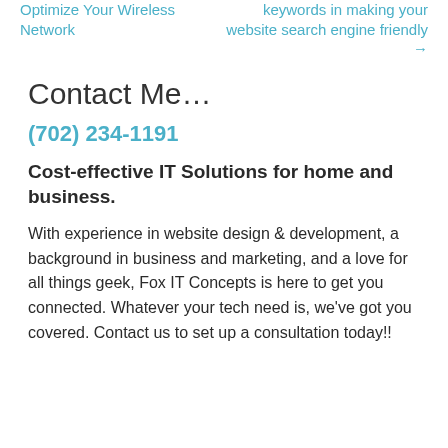Optimize Your Wireless Network
keywords in making your website search engine friendly →
Contact Me…
(702) 234-1191
Cost-effective IT Solutions for home and business.
With experience in website design & development, a background in business and marketing, and a love for all things geek, Fox IT Concepts is here to get you connected. Whatever your tech need is, we've got you covered. Contact us to set up a consultation today!!